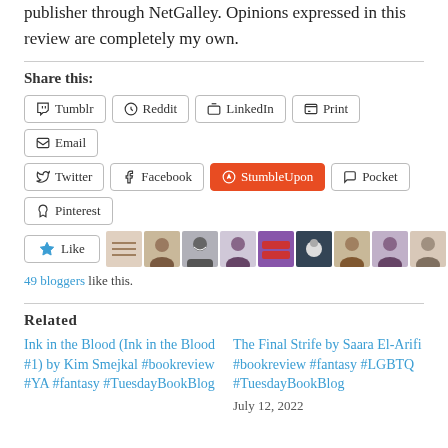publisher through NetGalley. Opinions expressed in this review are completely my own.
Share this:
Tumblr
Reddit
LinkedIn
Print
Email
Twitter
Facebook
StumbleUpon
Pocket
Pinterest
49 bloggers like this.
Related
Ink in the Blood (Ink in the Blood #1) by Kim Smejkal #bookreview #YA #fantasy #TuesdayBookBlog
The Final Strife by Saara El-Arifi #bookreview #fantasy #LGBTQ #TuesdayBookBlog
July 12, 2022